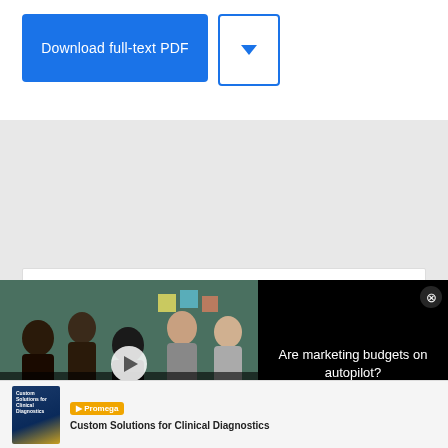[Figure (screenshot): Download full-text PDF button (blue) and dropdown chevron button]
Recommendations
Discover more about: Crocus
[Figure (screenshot): Video thumbnail showing group of people in office setting with text ARE MARKETING BUDGETS ON AUTOPILOT? and play button overlay]
[Figure (screenshot): Black overlay panel with close X button and text: Are marketing budgets on autopilot?]
[Figure (illustration): Custom Solutions for Clinical Diagnostics book cover thumbnail]
Promega
Custom Solutions for Clinical Diagnostics